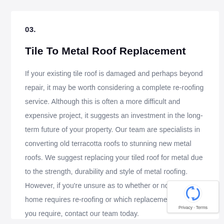03.
Tile To Metal Roof Replacement
If your existing tile roof is damaged and perhaps beyond repair, it may be worth considering a complete re-roofing service. Although this is often a more difficult and expensive project, it suggests an investment in the long-term future of your property. Our team are specialists in converting old terracotta roofs to stunning new metal roofs. We suggest replacing your tiled roof for metal due to the strength, durability and style of metal roofing. However, if you're unsure as to whether or not your home requires re-roofing or which replacement service you require, contact our team today.